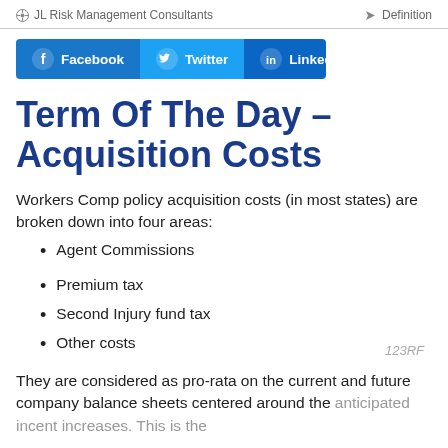JL Risk Management Consultants   Definition
[Figure (infographic): Social sharing bar with Facebook, Twitter, and LinkedIn buttons]
Term Of The Day – Acquisition Costs
Workers Comp policy acquisition costs (in most states) are broken down into four areas:
Agent Commissions
Premium tax
Second Injury fund tax
Other costs
They are considered as pro-rata on the current and future company balance sheets centered around the anticipated incent increases. This is the